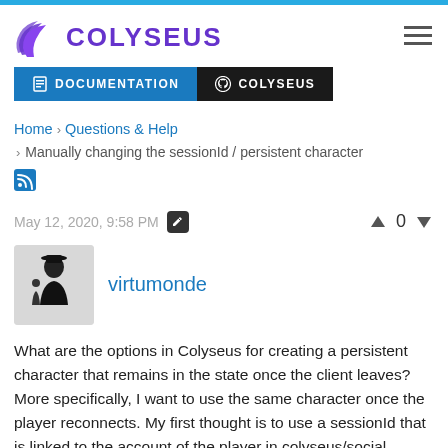COLYSEUS
DOCUMENTATION
COLYSEUS
Home > Questions & Help > Manually changing the sessionId / persistent character
May 12, 2020, 9:58 PM  0
virtumonde
What are the options in Colyseus for creating a persistent character that remains in the state once the client leaves? More specifically, I want to use the same character once the player reconnects. My first thought is to use a sessionId that is linked to the account of the player in colyseus/social, however, I am not able to find a way to